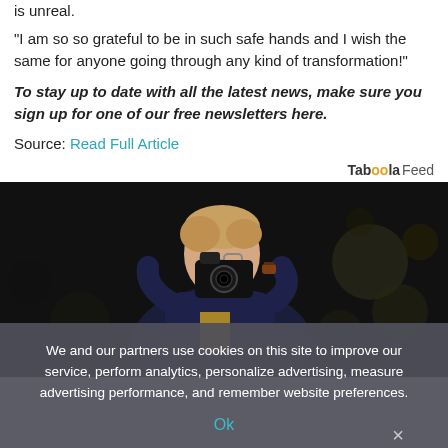is unreal.
"I am so so grateful to be in such safe hands and I wish the same for anyone going through any kind of transformation!"
To stay up to date with all the latest news, make sure you sign up for one of our free newsletters here.
Source: Read Full Article
Taboola Feed
[Figure (photo): A person photographing with a camera, bokeh background, dark outdoor setting]
We and our partners use cookies on this site to improve our service, perform analytics, personalize advertising, measure advertising performance, and remember website preferences.
Ok